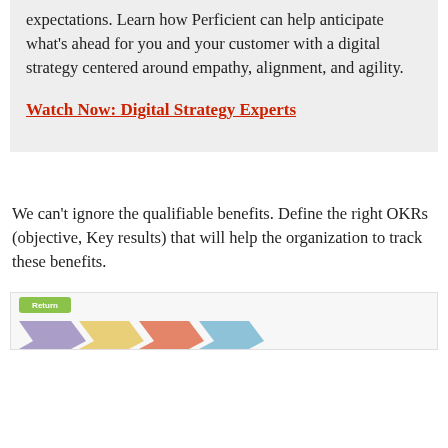expectations. Learn how Perficient can help anticipate what's ahead for you and your customer with a digital strategy centered around empathy, alignment, and agility.
Watch Now: Digital Strategy Experts
We can't ignore the qualifiable benefits. Define the right OKRs (objective, Key results) that will help the organization to track these benefits.
[Figure (infographic): Partial view of a diagram showing colored boxes/arrows with a 'Return' label visible at the top left]